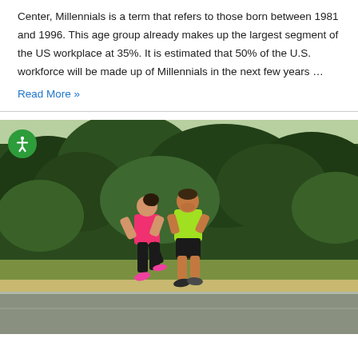Center, Millennials is a term that refers to those born between 1981 and 1996. This age group already makes up the largest segment of the US workplace at 35%. It is estimated that 50% of the U.S. workforce will be made up of Millennials in the next few years …
Read More »
[Figure (photo): Two people jogging on a road outdoors — a woman in a pink top and black leggings, and a man in a neon green shirt and black shorts — with green trees and grass in the background.]